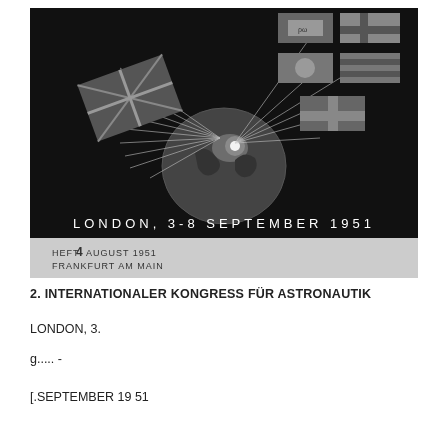[Figure (illustration): Black and white photograph of a 1951 astronautics congress poster showing national flags radiating from a globe on a dark background, with text: LONDON, 3-8 SEPTEMBER 1951, HEFT 4 AUGUST 1951, FRANKFURT AM MAIN]
2. INTERNATIONALER KONGRESS FÜR ASTRONAUTIK
LONDON, 3.
g..... -
[.SEPTEMBER 19 51